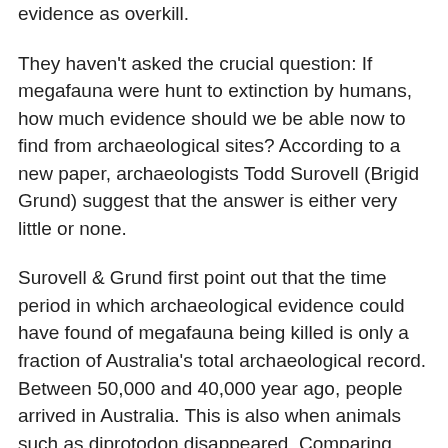evidence as overkill.
They haven't asked the crucial question: If megafauna were hunt to extinction by humans, how much evidence should we be able now to find from archaeological sites? According to a new paper, archaeologists Todd Surovell (Brigid Grund) suggest that the answer is either very little or none.
Surovell & Grund first point out that the time period in which archaeological evidence could have found of megafauna being killed is only a fraction of Australia's total archaeological record. Between 50,000 and 40,000 year ago, people arrived in Australia. This is also when animals such as diprotodon disappeared. Comparing fossil and archaeological dates shows that humans and megafauna spanned only about 4,000 years across continents. Modelling suggests that if there was an extinction due to hunting, it would have occurred in less